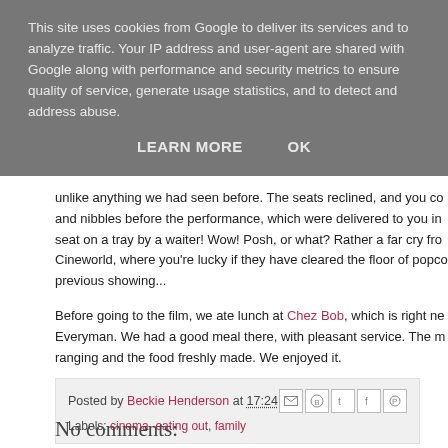This site uses cookies from Google to deliver its services and to analyze traffic. Your IP address and user-agent are shared with Google along with performance and security metrics to ensure quality of service, generate usage statistics, and to detect and address abuse.
LEARN MORE   OK
unlike anything we had seen before. The seats reclined, and you co... and nibbles before the performance, which were delivered to you in... seat on a tray by a waiter! Wow! Posh, or what? Rather a far cry fro... Cineworld, where you're lucky if they have cleared the floor of popc... previous showing...
Before going to the film, we ate lunch at Chez Bob, which is right ne... Everyman. We had a good meal there, with pleasant service. The m... ranging and the food freshly made. We enjoyed it.
Posted by Beckie Henderson at 17:24
Labels: cinema, eating out, family
No comments: